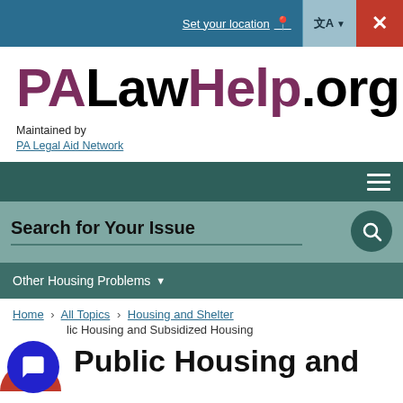Set your location | Translate | Close
PALawHelp.org
Maintained by
PA Legal Aid Network
[Figure (screenshot): Navigation bar with hamburger menu icon on dark teal background]
[Figure (screenshot): Search bar area with text 'Search for Your Issue' on light teal background with circular search button]
[Figure (screenshot): Dark teal bar with 'Other Housing Problems' dropdown menu]
Home > All Topics > Housing and Shelter
Public Housing and Subsidized Housing
Public Housing and